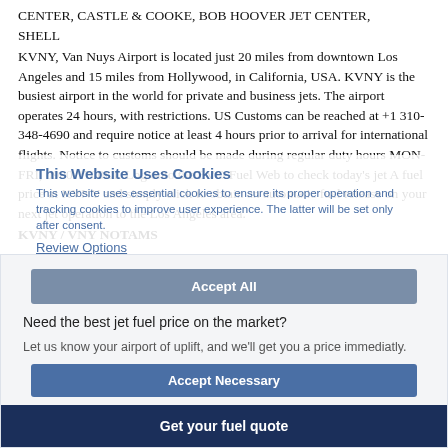CENTER, CASTLE & COOKE, BOB HOOVER JET CENTER, SHELL
KVNY, Van Nuys Airport is located just 20 miles from downtown Los Angeles and 15 miles from Hollywood, in California, USA. KVNY is the busiest airport in the world for private and business jets. The airport operates 24 hours, with restrictions. US Customs can be reached at +1 310-348-4690 and require notice at least 4 hours prior to arrival for international flights. Notice to customs should be made during regular duty hours MON-FRI, 0900-1700LT. Log onto the EVO Fuel Web to check today's jet A fuel price at KVNY and simply click to obtain an automatic fuel release on your next jet operation to the Los Angeles area.
KVNY / VNY NOTAMS
This Website Uses Cookies
This website uses essential cookies to ensure its proper operation and tracking cookies to improve user experience. The latter will be set only after consent.
Review Options
Accept All
Need the best jet fuel price on the market?
Let us know your airport of uplift, and we'll get you a price immediatly.
Accept Necessary
Get your fuel quote